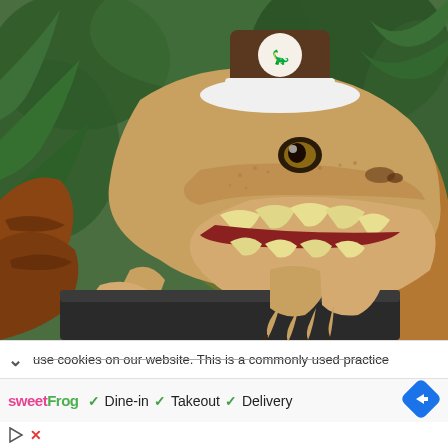[Figure (illustration): A CG/animatronic dinosaur (raptor/T-rex type) wearing a brown and white chef or bellhop hat, with open mouth showing teeth, clawed hands gripping a counter edge, in front of green fern foliage background. A second dinosaur is partially visible on the right.]
use cookies on our website. This is a commonly used practice
sweetFrog  ✓ Dine-in  ✓ Takeout  ✓ Delivery
[Figure (logo): Blue diamond-shaped navigation/maps icon with white right-turn arrow]